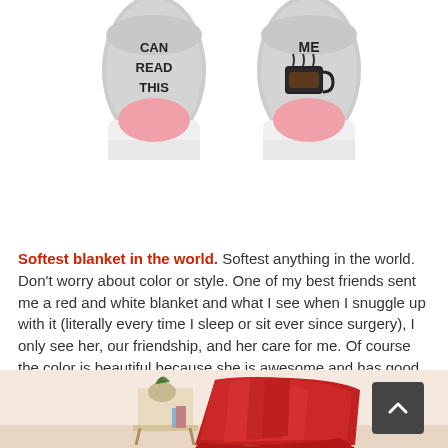[Figure (photo): Product photo of two gray socks viewed from the bottom showing text 'CAN READ THIS' on left sock and 'ME' with a coffee cup icon on the right sock. Socks have pink heel area and white cuff.]
Softest blanket in the world. Softest anything in the world. Don't worry about color or style. One of my best friends sent me a red and white blanket and what I see when I snuggle up with it (literally every time I sleep or sit ever since surgery), I only see her, our friendship, and her care for me. Of course the color is beautiful because she is awesome and has good taste.
[Figure (photo): Photo of a red blanket draped over a wicker chair next to a small side table with a plant and books, against a light peach/beige wall. A dark scroll-to-top button with an upward chevron is overlaid on the right side.]